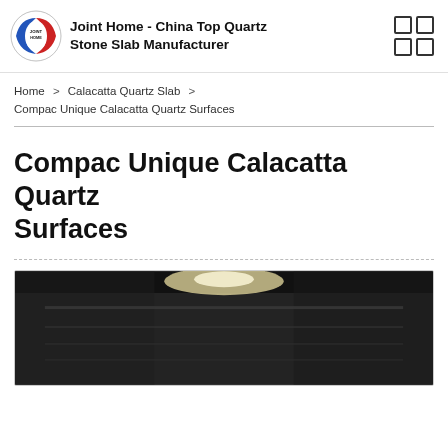Joint Home - China Top Quartz Stone Slab Manufacturer
Home > Calacatta Quartz Slab > Compac Unique Calacatta Quartz Surfaces
Compac Unique Calacatta Quartz Surfaces
[Figure (photo): Dark photograph showing interior of a manufacturing facility or showroom with a bright light source visible at the top center]